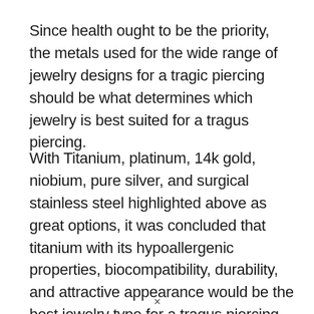Since health ought to be the priority, the metals used for the wide range of jewelry designs for a tragic piercing should be what determines which jewelry is best suited for a tragus piercing.
With Titanium, platinum, 14k gold, niobium, pure silver, and surgical stainless steel highlighted above as great options, it was concluded that titanium with its hypoallergenic properties, biocompatibility, durability, and attractive appearance would be the best jewelry type for a tragus piercing.